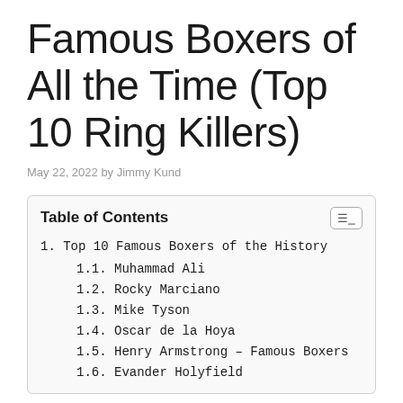Famous Boxers of All the Time (Top 10 Ring Killers)
May 22, 2022 by Jimmy Kund
Table of Contents
1. Top 10 Famous Boxers of the History
1.1. Muhammad Ali
1.2. Rocky Marciano
1.3. Mike Tyson
1.4. Oscar de la Hoya
1.5. Henry Armstrong – Famous Boxers
1.6. Evander Holyfield